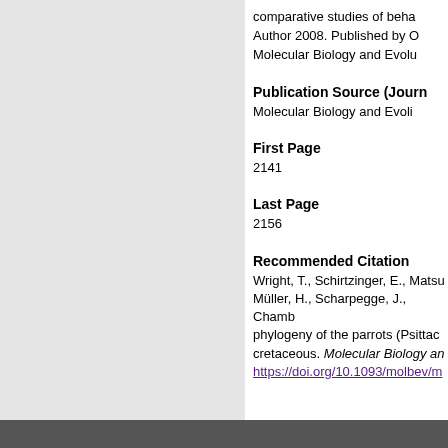comparative studies of behavior. Copyright © The Author 2008. Published by Oxford University Press on behalf of the Society for Molecular Biology and Evolution.
Publication Source (Journal)
Molecular Biology and Evolution
First Page
2141
Last Page
2156
Recommended Citation
Wright, T., Schirtzinger, E., Matsumoto, T., Eberhard, J., Graves, G., Sanchez, J., Capelli, S., Müller, H., Scharpegge, J., Chamberlain, G., & Fleischer, R. (2008). A multilocus molecular phylogeny of the parrots (Psittaciformes): Support for a Gondwanan origin during the cretaceous. Molecular Biology and Evolution, 25(10), 2141-2156.
https://doi.org/10.1093/molbev/msn160